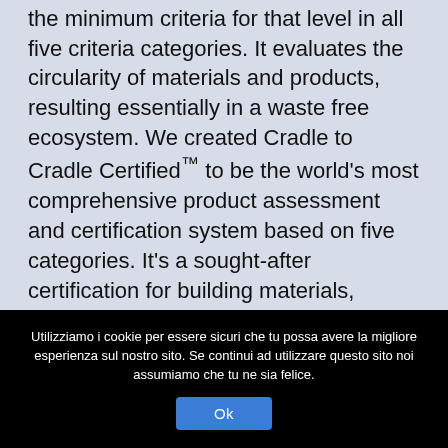the minimum criteria for that level in all five criteria categories. It evaluates the circularity of materials and products, resulting essentially in a waste free ecosystem. We created Cradle to Cradle Certified™ to be the world's most comprehensive product assessment and certification system based on five categories. It's a sought-after certification for building materials, furniture, flooring, and increasingly cosmetics and personal care products. Any cookies that may not be particularly necessary for the website to function and is used specifically to
Utilizziamo i cookie per essere sicuri che tu possa avere la migliore esperienza sul nostro sito. Se continui ad utilizzare questo sito noi assumiamo che tu ne sia felice.
Ok